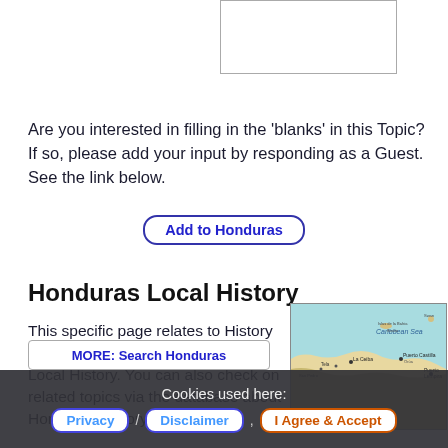[Figure (other): White rectangle placeholder image in upper right area]
Are you interested in filling in the 'blanks' in this Topic? If so, please add your input by responding as a Guest. See the link below.
Add to Honduras
Honduras Local History
This specific page relates to History from Honduras or in other words Local History. You can also check on related topics via the database about Honduras History.
[Figure (map): Map of Honduras showing Caribbean Sea coastline, cities including Puerto Castilla, Puerto Lempira, and other locations]
MORE: Search Honduras
Cookies used here:
Privacy / Disclaimer , I Agree & Accept